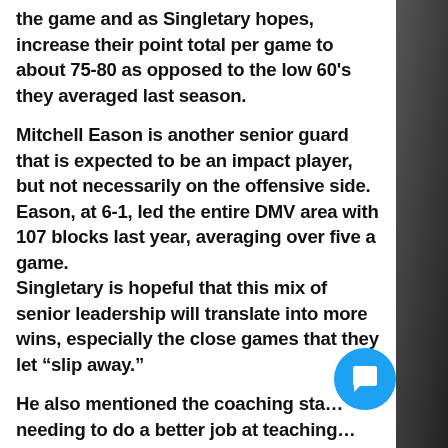the game and as Singletary hopes, increase their point total per game to about 75-80 as opposed to the low 60's they averaged last season.
Mitchell Eason is another senior guard that is expected to be an impact player, but not necessarily on the offensive side. Eason, at 6-1, led the entire DMV area with 107 blocks last year, averaging over five a game.
Singletary is hopeful that this mix of senior leadership will translate into more wins, especially the close games that they let “slip away.”
He also mentioned the coaching sta… needing to do a better job at teaching… rudimentary elements of the game, which
[Figure (other): Blue circular chat/message button with speech bubble icon]